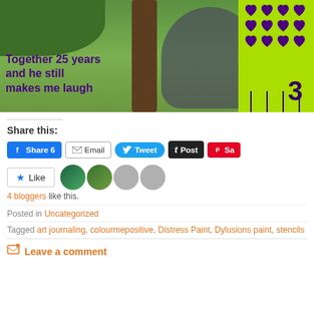[Figure (photo): Blog post banner photo of a man standing near a tree in a garden, with a green panel showing purple hearts on the right. Overlay text reads 'Together 25 years and he still makes me laugh' in bold purple.]
Share this:
Facebook Share 6 | Email | Tweet | Post | Save
Like | 4 bloggers like this.
Posted in Uncategorized
Tagged art journaling, colourmepositive, Distress Paint, Dylusions paint, stencils
Leave a comment